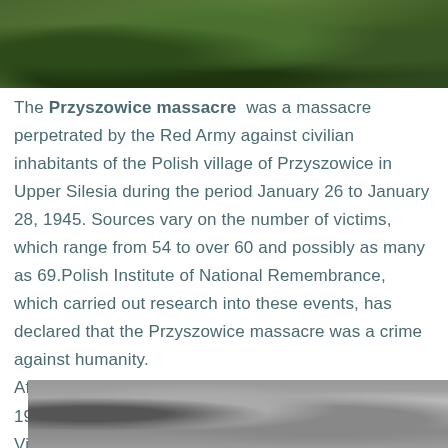[Figure (photo): Top portion of a photo showing green foliage/plants, likely a memorial or garden site]
The Przyszowice massacre was a massacre perpetrated by the Red Army against civilian inhabitants of the Polish village of Przyszowice in Upper Silesia during the period January 26 to January 28, 1945. Sources vary on the number of victims, which range from 54 to over 60 and possibly as many as 69.Polish Institute of National Remembrance, which carried out research into these events, has declared that the Przyszowice massacre was a crime against humanity. After the start of the Soviet January offensive in early 1945, the Red Army broke through from the line of the Vistula River well into German-held territory in occupied Poland.
[Figure (photo): Bottom portion of a black and white historical photo showing what appears to be a military or wartime scene]